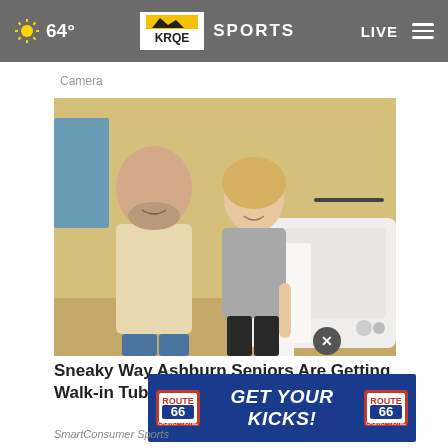64° KRQE SPORTS LIVE
Camera
[Figure (photo): A man and woman standing together next to a walk-in bathtub inside a bathroom with yellow walls]
Sneaky Way Ashburn Seniors Are Getting Walk-in Tubs
SmartConsumer Sports
[Figure (other): Route 66 Casino Hotel advertisement banner: GET YOUR KICKS!]